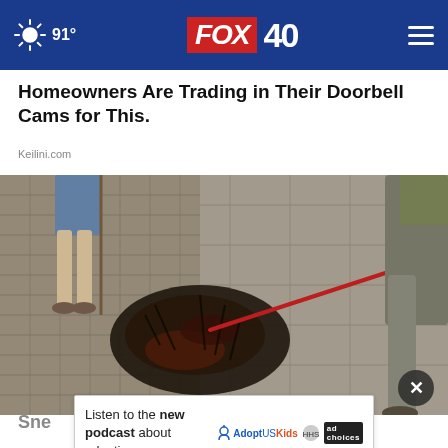91° FOX 40
Homeowners Are Trading in Their Doorbell Cams for This.
Keilini.com
[Figure (photo): Overhead outdoor scene showing a person walking a dog on a leash on a stone or brick paved area, with dark debris or charred material on the ground, and another person visible in background.]
Listen to the new podcast about adoption.
Sne